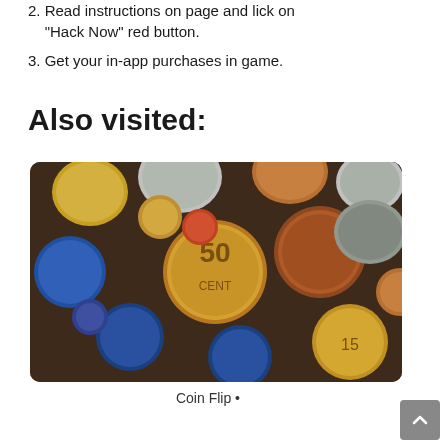2. Read instructions on page and lick on “Hack Now” red button.
3. Get your in-app purchases in game.
Also visited:
[Figure (photo): A pile of various coins in different denominations and colors including gold, copper, silver and blue coins. A prominent 50 cent euro coin is visible in the center.]
Coin Flip •